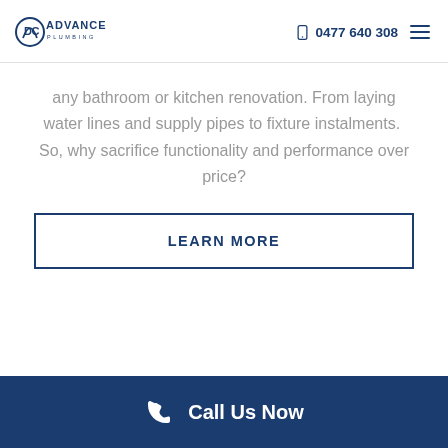DC Advance Plumbing | 0477 640 308
any bathroom or kitchen renovation. From laying water lines and supply pipes to fixture instalments.  So, why sacrifice functionality and performance over price?
LEARN MORE
Call Us Now